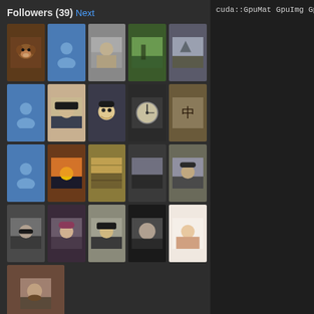Followers (39) Next
[Figure (screenshot): Grid of 21 follower avatar thumbnails showing various profile photos and placeholder icons]
[Figure (screenshot): Button labeled Follow]
cuda::GpuMat GpuImg
GpuImg.upload(img);
cuda::resize(GpuImg
Mat rInimg;
rGpuImg.download(rI

while (1)
{
 //time check
 AAtime = getTickCo

 //loading
 cap >> img;
 if (img.empty())
  break;

 //resize
 GpuImg.upload(img)
 cuda::resize(GpuIm
 rGpuImg.download(r
 cuda::cvtColor(rGp

 vector< Point> fou
 d_hog->detect(rGp